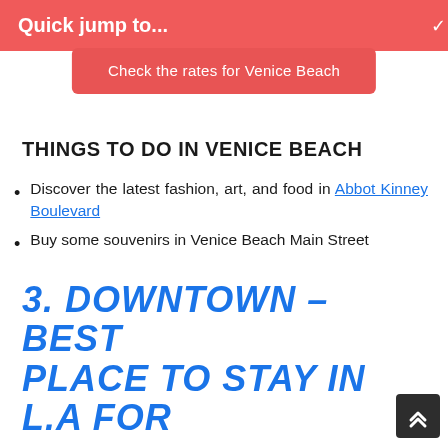Quick jump to...
Check the rates for Venice Beach
THINGS TO DO IN VENICE BEACH
Discover the latest fashion, art, and food in Abbot Kinney Boulevard
Buy some souvenirs in Venice Beach Main Street
Soak in some California sun on Venice Beach
Gaze at the incredible paintings of the Mosaic Tile House
Train at the famous outdoor gym, surrounded by oiled bodybuilders
3. DOWNTOWN – BEST PLACE TO STAY IN L.A FOR